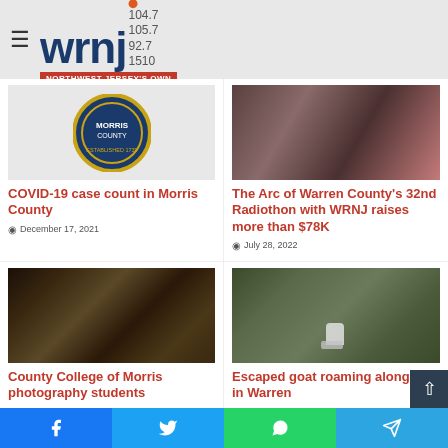WRNJ 104.7 105.7 92.7 1510 — Northwest Jersey's Own
[Figure (photo): Morris County seal / coat of arms logo circular badge, blue and gold]
COVID-19 case count in Morris County
December 17, 2021
[Figure (photo): People sitting around a table with microphones, recording studio/radio setting]
The Arc of Warren County's 32nd Radiothon with WRNJ raises more than $78K
July 28, 2022
[Figure (photo): Black and white sepia photo of abandoned farm buildings with silos and bare trees]
County College of Morris photography students
[Figure (photo): Goat roaming in wooded area with green foliage and fallen leaves]
Escaped goat roaming along I-80 in Warren